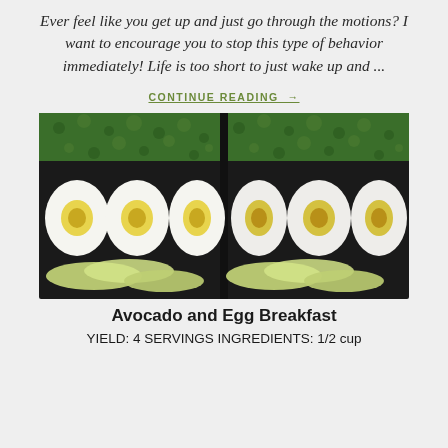Ever feel like you get up and just go through the motions? I want to encourage you to stop this type of behavior immediately! Life is too short to just wake up and ...
CONTINUE READING →
[Figure (photo): Two meal prep containers with sliced hard-boiled eggs and avocado slices on a dark background with green herbs]
Avocado and Egg Breakfast
YIELD: 4 SERVINGS INGREDIENTS: 1/2 cup